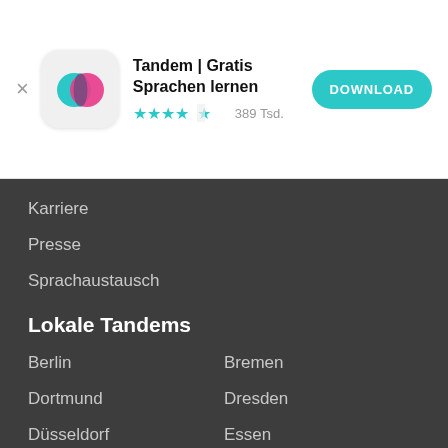[Figure (screenshot): Tandem app icon with teal and pink speech bubbles on white rounded-square background]
Tandem | Gratis Sprachen lernen
★★★★½ 389 Tsd.
DOWNLOAD
Karriere
Presse
Sprachaustausch
Lokale Tandems
Berlin
Bremen
Dortmund
Dresden
Düsseldorf
Essen
Frankfurt
Graz